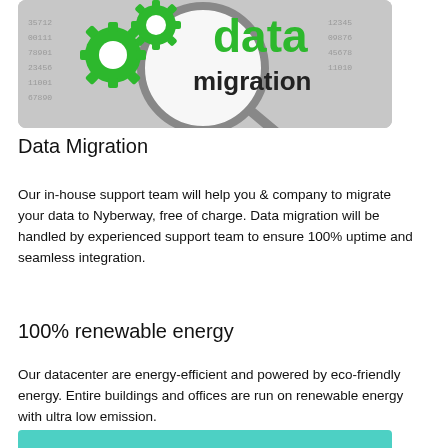[Figure (photo): Photo showing green gear icons and a magnifying glass with 'data migration' text in green and black on a digital background]
Data Migration
Our in-house support team will help you & company to migrate your data to Nyberway, free of charge. Data migration will be handled by experienced support team to ensure 100% uptime and seamless integration.
100% renewable energy
Our datacenter are energy-efficient and powered by eco-friendly energy. Entire buildings and offices are run on renewable energy with ultra low emission.